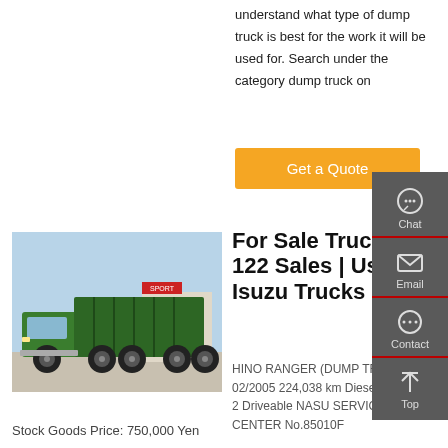understand what type of dump truck is best for the work it will be used for. Search under the category dump truck on
[Figure (other): Orange 'Get a Quote' button]
[Figure (photo): Green dump truck (HINO RANGER) parked outdoors]
For Sale Trucks | 122 Sales | Used Isuzu Trucks
HINO RANGER (DUMP TRUCK) 02/2005 224,038 km Diesel 4,720 cc 2 Driveable NASU SERVICE CENTER No.85010F
Stock Goods Price: 750,000 Yen
[Figure (other): Dark sidebar with Chat, Email, Contact, and Top icons]